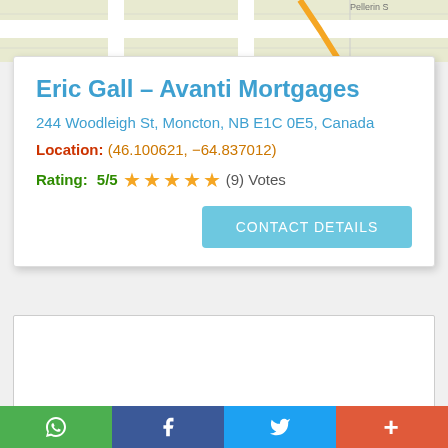[Figure (map): Partial street map showing road with yellow route line, Pellerin St label visible]
Eric Gall – Avanti Mortgages
244 Woodleigh St, Moncton, NB E1C 0E5, Canada
Location: (46.100621, −64.837012)
Rating: 5/5 ★★★★★ (9) Votes
[Figure (screenshot): Empty white advertisement box]